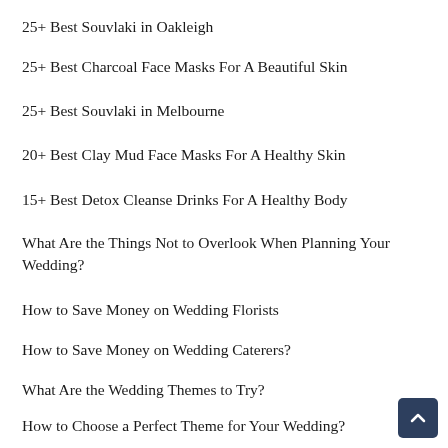25+ Best Souvlaki in Oakleigh
25+ Best Charcoal Face Masks For A Beautiful Skin
25+ Best Souvlaki in Melbourne
20+ Best Clay Mud Face Masks For A Healthy Skin
15+ Best Detox Cleanse Drinks For A Healthy Body
What Are the Things Not to Overlook When Planning Your Wedding?
How to Save Money on Wedding Florists
How to Save Money on Wedding Caterers?
What Are the Wedding Themes to Try?
How to Choose a Perfect Theme for Your Wedding?
What Are the Tips on Choosing Your Wedding Vendors?